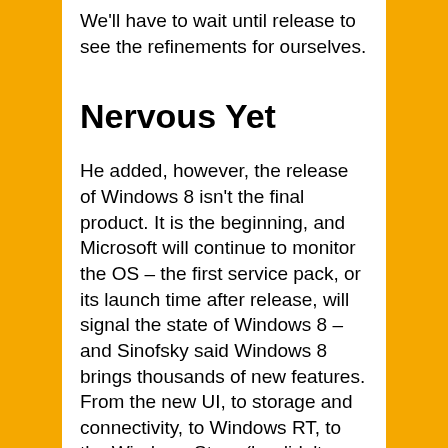We'll have to wait until release to see the refinements for ourselves.
Nervous Yet
He added, however, the release of Windows 8 isn't the final product. It is the beginning, and Microsoft will continue to monitor the OS – the first service pack, or its launch time after release, will signal the state of Windows 8 – and Sinofsky said Windows 8 brings thousands of new features. From the new UI, to storage and connectivity, to Windows RT, to the Windows Store (he didn't mention the latter).